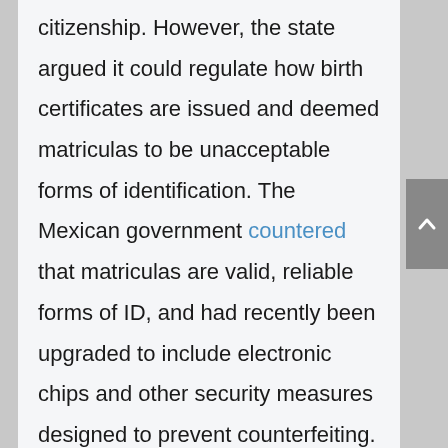citizenship. However, the state argued it could regulate how birth certificates are issued and deemed matriculas to be unacceptable forms of identification. The Mexican government countered that matriculas are valid, reliable forms of ID, and had recently been upgraded to include electronic chips and other security measures designed to prevent counterfeiting.

The case ultimately did not go to trial